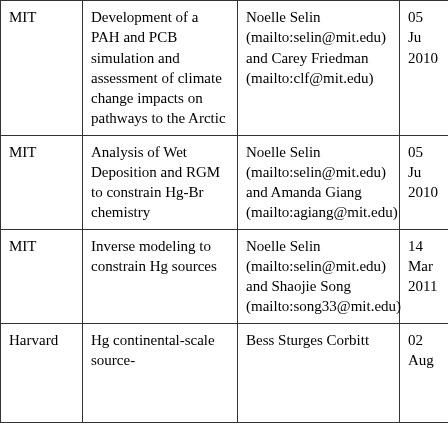| Institution | Project | Contact | Date |
| --- | --- | --- | --- |
| MIT | Development of a PAH and PCB simulation and assessment of climate change impacts on pathways to the Arctic | Noelle Selin (mailto:selin@mit.edu) and Carey Friedman (mailto:clf@mit.edu) | 05 Jun 2010 |
| MIT | Analysis of Wet Deposition and RGM to constrain Hg-Br chemistry | Noelle Selin (mailto:selin@mit.edu) and Amanda Giang (mailto:agiang@mit.edu) | 05 Jun 2010 |
| MIT | Inverse modeling to constrain Hg sources | Noelle Selin (mailto:selin@mit.edu) and Shaojie Song (mailto:song33@mit.edu) | 14 Mar 2011 |
| Harvard | Hg continental-scale source- | Bess Sturges Corbitt | 02 Aug |